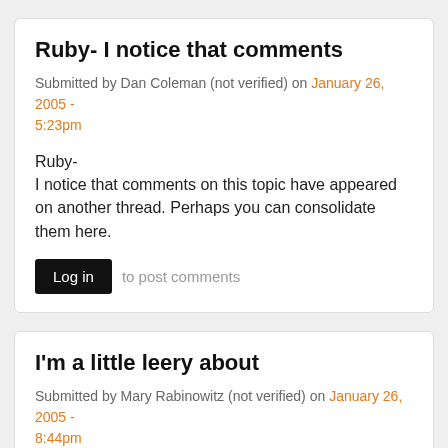Ruby- I notice that comments
Submitted by Dan Coleman (not verified) on January 26, 2005 - 5:23pm
Ruby-
I notice that comments on this topic have appeared on another thread. Perhaps you can consolidate them here.
Log in to post comments
I'm a little leery about
Submitted by Mary Rabinowitz (not verified) on January 26, 2005 - 8:44pm
I'm a little leery about changing things. I like the idea that our current structure gives us commissioners who look at Orange County as a whole. When you get into districts, I wonder/worry about what happens to the big picture. On the other hand, there is no doubt in my mind that some in the county feel